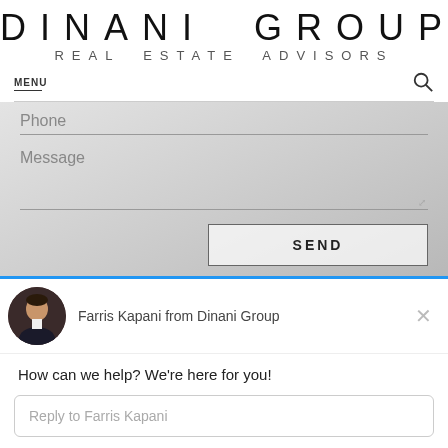DINANI GROUP
REAL ESTATE ADVISORS
MENU
[Figure (screenshot): Website contact form area with Phone and Message fields and SEND button, overlaid on a light gray background suggesting a luxury interior photo]
Phone
Message
SEND
[Figure (photo): Circular avatar photo of Farris Kapani, a man in a dark suit]
Farris Kapani from Dinani Group
How can we help? We're here for you!
Reply to Farris Kapani
Chat ⚡ by Drift